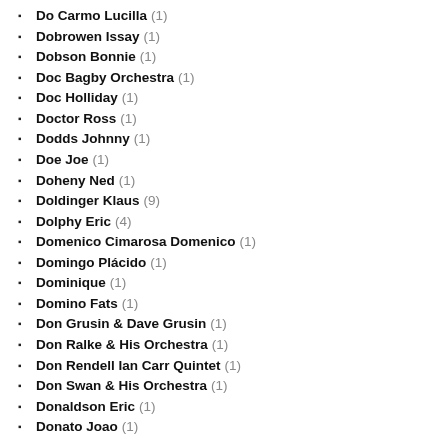Do Carmo Lucilla (1)
Dobrowen Issay (1)
Dobson Bonnie (1)
Doc Bagby Orchestra (1)
Doc Holliday (1)
Doctor Ross (1)
Dodds Johnny (1)
Doe Joe (1)
Doheny Ned (1)
Doldinger Klaus (9)
Dolphy Eric (4)
Domenico Cimarosa Domenico (1)
Domingo Plácido (1)
Dominique (1)
Domino Fats (1)
Don Grusin & Dave Grusin (1)
Don Ralke & His Orchestra (1)
Don Rendell Ian Carr Quintet (1)
Don Swan & His Orchestra (1)
Donaldson Eric (1)
Donato Joao (1)